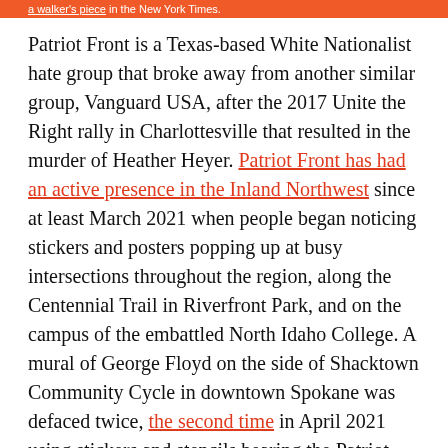a walker's piece in the New York Times.
Patriot Front is a Texas-based White Nationalist hate group that broke away from another similar group, Vanguard USA, after the 2017 Unite the Right rally in Charlottesville that resulted in the murder of Heather Heyer. Patriot Front has had an active presence in the Inland Northwest since at least March 2021 when people began noticing stickers and posters popping up at busy intersections throughout the region, along the Centennial Trail in Riverfront Park, and on the campus of the embattled North Idaho College. A mural of George Floyd on the side of Shacktown Community Cycle in downtown Spokane was defaced twice, the second time in April 2021 using stickers and stencils bearing the Patriot Front logo. In the leadup to Saturday's event in Coeur d'Alene, at least one far-right